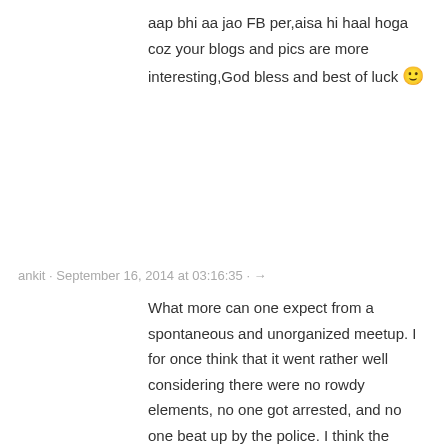aap bhi aa jao FB per,aisa hi haal hoga coz your blogs and pics are more interesting,God bless and best of luck 🙂
ankit · September 16, 2014 at 03:16:35 · →
What more can one expect from a spontaneous and unorganized meetup. I for once think that it went rather well considering there were no rowdy elements, no one got arrested, and no one beat up by the police. I think the reaction from everyone gathered is only human, perhaps the pun was intended to draw more readers, am I right Mayank?